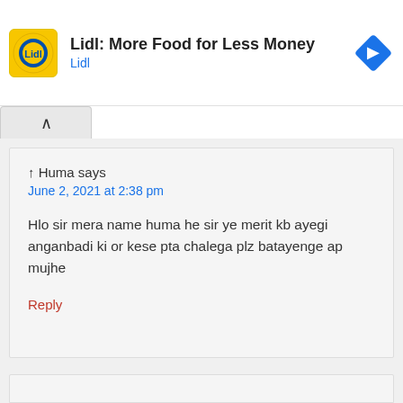[Figure (other): Lidl ad banner with logo, title 'Lidl: More Food for Less Money', subtitle 'Lidl', and a blue navigation arrow icon]
↑ Huma says
June 2, 2021 at 2:38 pm
Hlo sir mera name huma he sir ye merit kb ayegi anganbadi ki or kese pta chalega plz batayenge ap mujhe
Reply